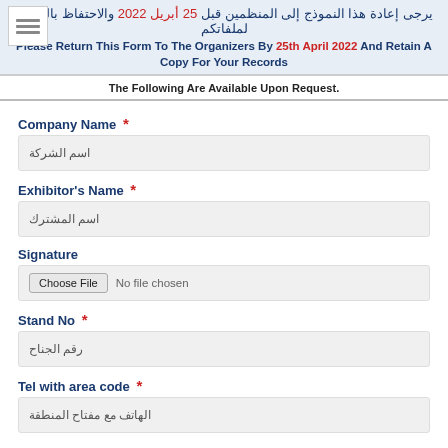2022 والاحتفاظ بالصورة لملفاتكم / Please Return This Form To The Organizers By 25th April 2022 And Retain A Copy For Your Records
The Following Are Available Upon Request.
Company Name *
اسم الشركة
Exhibitor's Name *
اسم المشترك
Signature
Choose File  No file chosen
Stand No *
رقم الجناح
Tel with area code *
الهاتف مع مفتاح المنطقة